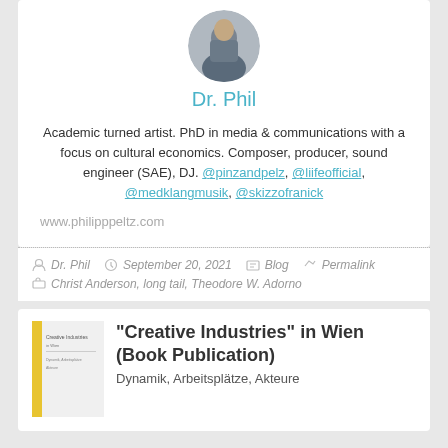[Figure (photo): Circular profile photo of a person wearing a jacket, outdoors]
Dr. Phil
Academic turned artist. PhD in media & communications with a focus on cultural economics. Composer, producer, sound engineer (SAE), DJ. @pinzandpelz, @liifeofficial, @medklangmusik, @skizzofranick
www.philipppeltz.com
Dr. Phil   September 20, 2021   Blog   Permalink
Christ Anderson, long tail, Theodore W. Adorno
[Figure (photo): Thumbnail of a book cover with yellow spine]
“Creative Industries” in Wien (Book Publication)
Dynamik, Arbeitsplätze, Akteure